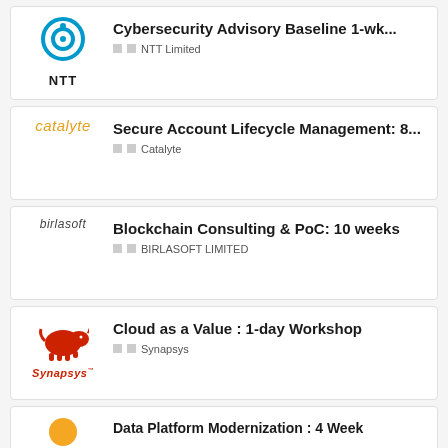[Figure (logo): NTT Limited logo - circular blue icon with NTT text below]
Cybersecurity Advisory Baseline 1-wk...
🔲🔲 NTT Limited
[Figure (logo): catalyte logo in orange italic text]
Secure Account Lifecycle Management: 8...
🔲🔲 Catalyte
[Figure (logo): birlasoft logo in dark italic text]
Blockchain Consulting & PoC: 10 weeks
🔲🔲 BIRLASOFT LIMITED
[Figure (logo): Synapsys logo - red rhino icon with Synapsys text below]
Cloud as a Value : 1-day Workshop
🔲🔲 Synapsys
[Figure (logo): Partial logo at bottom - orange/yellow circular icon]
Data Platform Modernization : 4 Week